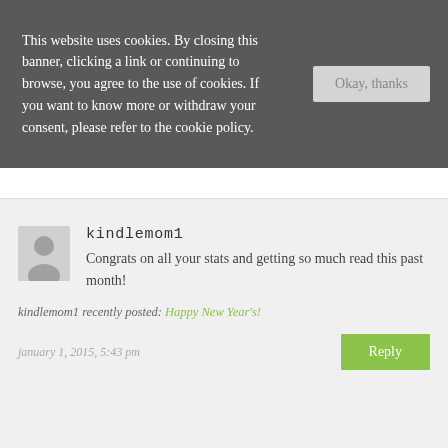This website uses cookies. By closing this banner, clicking a link or continuing to browse, you agree to the use of cookies. If you want to know more or withdraw your consent, please refer to the cookie policy.
Okay, thanks
kindlemom1
Congrats on all your stats and getting so much read this past month!
kindlemom1 recently posted: Happy New Year's!
january 1, 2015, 5:43 pm
Reply